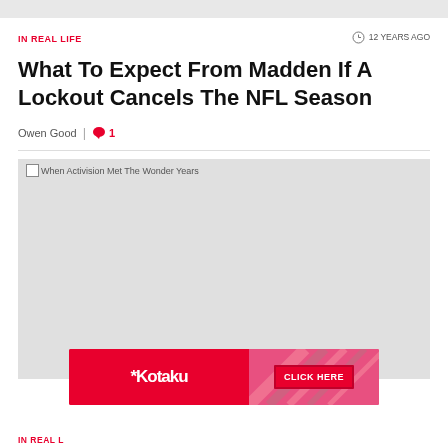IN REAL LIFE
12 YEARS AGO
What To Expect From Madden If A Lockout Cancels The NFL Season
Owen Good  |  1
[Figure (photo): Large grey placeholder image with alt text: When Activision Met The Wonder Years]
[Figure (infographic): Kotaku advertisement banner with CLICK HERE button]
IN REAL L